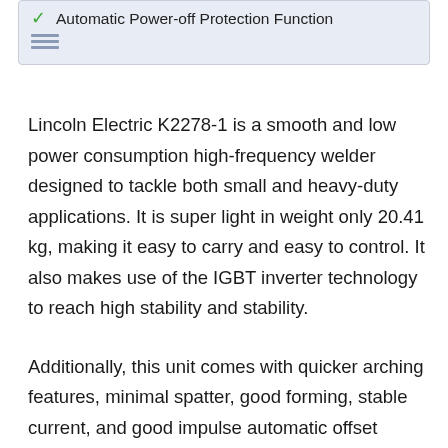Automatic Power-off Protection Function
Lincoln Electric K2278-1 is a smooth and low power consumption high-frequency welder designed to tackle both small and heavy-duty applications. It is super light in weight only 20.41 kg, making it easy to carry and easy to control. It also makes use of the IGBT inverter technology to reach high stability and stability.
Additionally, this unit comes with quicker arching features, minimal spatter, good forming, stable current, and good impulse automatic offset function.